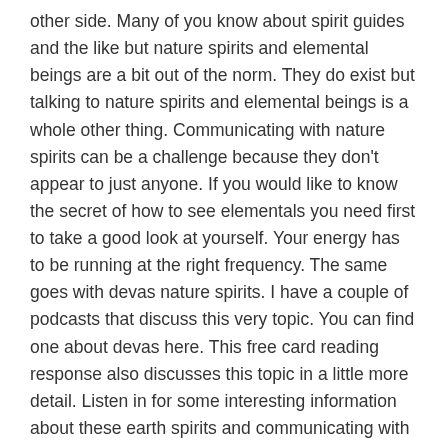other side. Many of you know about spirit guides and the like but nature spirits and elemental beings are a bit out of the norm. They do exist but talking to nature spirits and elemental beings is a whole other thing. Communicating with nature spirits can be a challenge because they don't appear to just anyone. If you would like to know the secret of how to see elementals you need first to take a good look at yourself. Your energy has to be running at the right frequency. The same goes with devas nature spirits. I have a couple of podcasts that discuss this very topic. You can find one about devas here. This free card reading response also discusses this topic in a little more detail. Listen in for some interesting information about these earth spirits and communicating with them.
A listener asks “how can I get better and connect with nature spirits?”